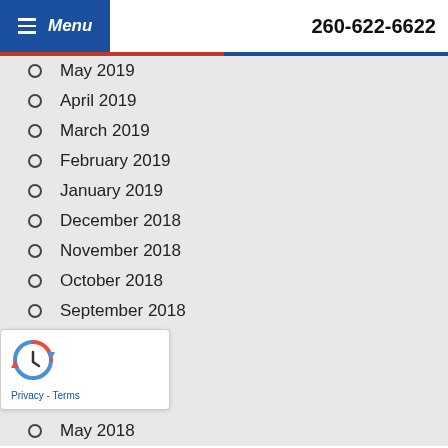Menu | 260-622-6622
May 2019
April 2019
March 2019
February 2019
January 2019
December 2018
November 2018
October 2018
September 2018
August 2018
July 2018
June 2018
May 2018